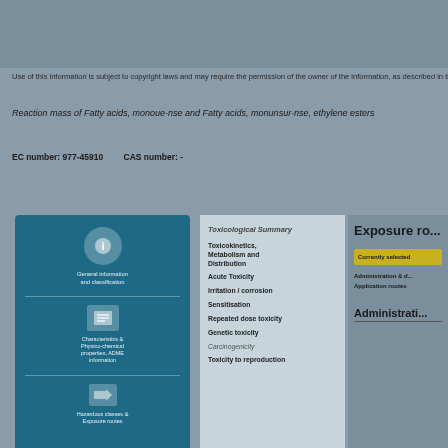Use of this information is subject to copyright laws and may require the permission of the owner of the information, as described in the HMDB terms of use.
Reaction mass of Fatty acids, monoue-nse and Fatty acids, monunsur-nse, ethylene esters
EC number: 977-45910   CAS number: -
[Figure (infographic): Blue toc panel with icons: information icon with label text, chemical/toxicology icon with label text, navigation arrow icon with label text about hazard classes and exposure routes]
Toxicological Summary
Toxicokinetics, Metabolism and Distribution
Acute Toxicity
Irritation / corrosion
Sensitisation
Repeated dose toxicity
Genetic toxicity
Carcinogenicity
Toxicity to reproduction
Exposure routes
Currently selected
Administration & dosage
Application routes
Administrati...